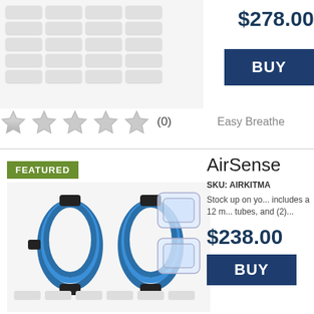[Figure (photo): Product image showing filter/supply items arranged in a grid pattern]
$278.00
BUY
[Figure (other): Five empty star rating icons]
(0)
Easy Breathe
FEATURED
[Figure (photo): AirSense product image showing blue CPAP hoses and clear connectors]
AirSense
SKU: AIRKITMA
Stock up on yo... includes a 12 m... tubes, and (2)...
$238.00
BUY